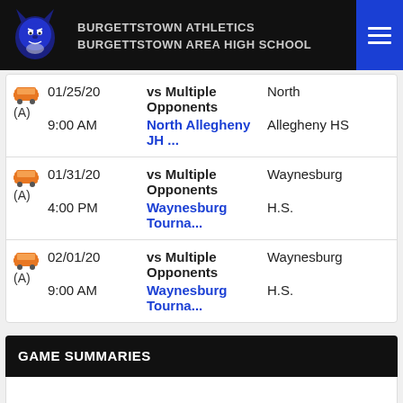BURGETTSTOWN ATHLETICS BURGETTSTOWN AREA HIGH SCHOOL
| Icon | Date/Time | Opponent/Event | Venue |
| --- | --- | --- | --- |
| bus (A) | 01/25/20 9:00 AM | vs Multiple Opponents North Allegheny JH ... | North Allegheny HS |
| bus (A) | 01/31/20 4:00 PM | vs Multiple Opponents Waynesburg Tourna... | Waynesburg H.S. |
| bus (A) | 02/01/20 9:00 AM | vs Multiple Opponents Waynesburg Tourna... | Waynesburg H.S. |
GAME SUMMARIES
No highlights for this season yet.